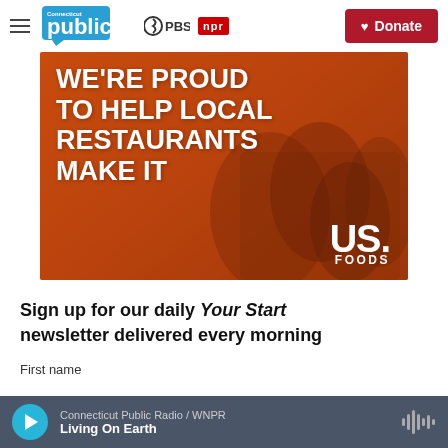Connecticut public PBS npr — Donate
[Figure (photo): Orange advertisement image with text: WE'RE PROUD TO HELP LOCAL RESTAURANTS MAKE IT — US. FOODS logo in bottom right corner]
Sign up for our daily Your Start newsletter delivered every morning
First name
Connecticut Public Radio / WNPR — Living On Earth